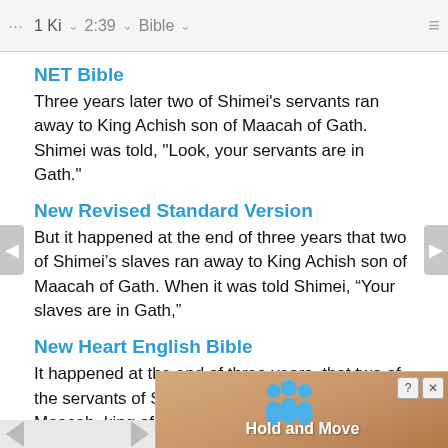⠿⠿⠿  1 Ki  ∨  2:39  ∨  Bible  ∨  ≡
NET Bible
Three years later two of Shimei's servants ran away to King Achish son of Maacah of Gath. Shimei was told, "Look, your servants are in Gath."
New Revised Standard Version
But it happened at the end of three years that two of Shimei's slaves ran away to King Achish son of Maacah of Gath. When it was told Shimei, “Your slaves are in Gath,”
New Heart English Bible
It happened at the end of three years, that two of the servants of Shimei ran away to Achish, son of Maacah, king of Gath. They told Shimei, saying, "Look
Worl
[Figure (screenshot): Advertisement overlay showing 'Hold and Move' text with blue figures icon and close/info buttons]